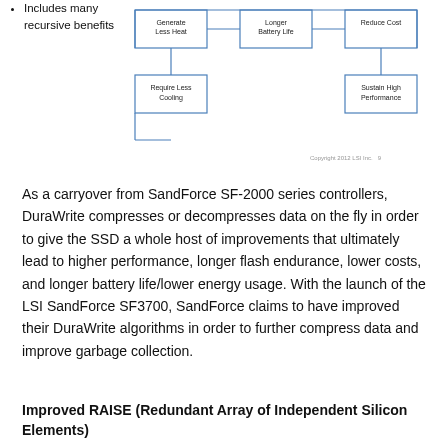Includes many recursive benefits
[Figure (flowchart): Flowchart showing: top row boxes: Generate Less Heat, Longer Battery Life, Reduce Cost. Bottom row boxes: Require Less Cooling (left, below Generate Less Heat), Sustain High Performance (right, below Reduce Cost). Boxes connected with lines indicating flow relationships.]
Copyright 2012 LSI Inc. 9
As a carryover from SandForce SF-2000 series controllers, DuraWrite compresses or decompresses data on the fly in order to give the SSD a whole host of improvements that ultimately lead to higher performance, longer flash endurance, lower costs, and longer battery life/lower energy usage. With the launch of the LSI SandForce SF3700, SandForce claims to have improved their DuraWrite algorithms in order to further compress data and improve garbage collection.
Improved RAISE (Redundant Array of Independent Silicon Elements)